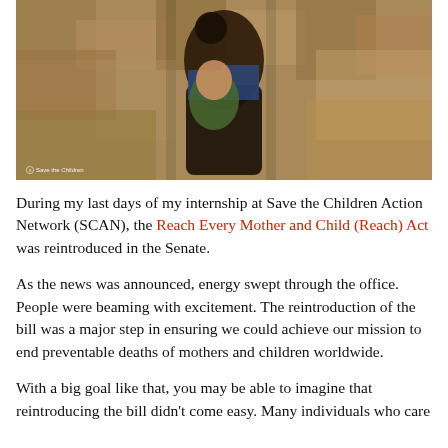[Figure (photo): A woman carrying a baby/toddler in her arms against a mud/clay textured wall background. The woman is wearing a blue patterned top and the child is wrapped in a green cloth. Save the Children logo and photo credit visible in bottom left.]
During my last days of my internship at Save the Children Action Network (SCAN), the Reach Every Mother and Child (Reach) Act was reintroduced in the Senate.
As the news was announced, energy swept through the office. People were beaming with excitement. The reintroduction of the bill was a major step in ensuring we could achieve our mission to end preventable deaths of mothers and children worldwide.
With a big goal like that, you may be able to imagine that reintroducing the bill didn't come easy. Many individuals who care